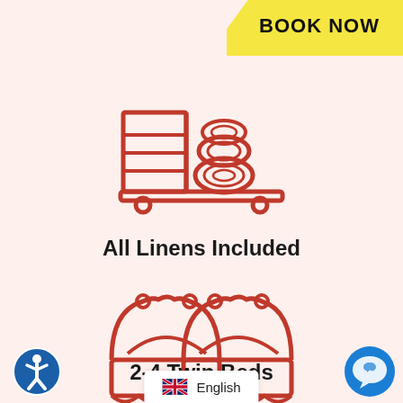BOOK NOW
[Figure (illustration): Icon of folded linens/towels on a cart or shelf, drawn in orange/red outline style]
All Linens Included
[Figure (illustration): Icon of two twin beds with ornate headboards, drawn in orange/red outline style]
2-4 Twin Beds
[Figure (illustration): Accessibility icon - person in circle, blue]
English
[Figure (illustration): Chat bubble icon in blue circle, bottom right]